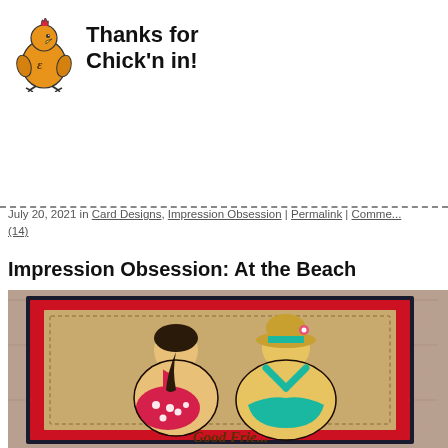[Figure (logo): Cartoon chicken logo with text 'Thanks for Chick'n in!' in handwritten style font]
July 20, 2021 in Card Designs, Impression Obsession | Permalink | Comments (14)
Impression Obsession: At the Beach
[Figure (photo): Handmade greeting card on wood surface with two plus-size women in bikinis seen from behind, sitting on a beach. Card has red glitter border on dark background, tan card stock with stitched border detail. Text at bottom reads 'Good Frie...' (partially visible)]